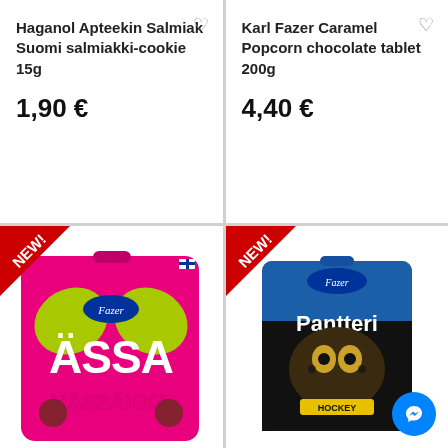Haganol Apteekin Salmiak Suomi salmiakki-cookie 15g
1,90 €
Karl Fazer Caramel Popcorn chocolate tablet 200g
4,40 €
[Figure (photo): Fazer Ässä Hässäkka candy bag in bright pink packaging with green design and white text]
[Figure (photo): Fazer Pantteri Hockey candy bag in blue and black packaging with leopard graphic]